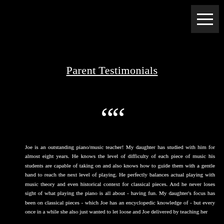[Figure (other): Hamburger menu icon button — three horizontal white lines on dark background, top-right corner]
Parent Testimonials
““
Joe is an outstanding piano/music teacher! My daughter has studied with him for almost eight years. He knows the level of difficulty of each piece of music his students are capable of taking on and also knows how to guide them with a gentle hand to reach the next level of playing. He perfectly balances actual playing with music theory and even historical context for classical pieces. And he never loses sight of what playing the piano is all about - having fun. My daughter's focus has been on classical pieces - which Joe has an encyclopedic knowledge of - but every once in a while she also just wanted to let loose and Joe delivered by teaching her